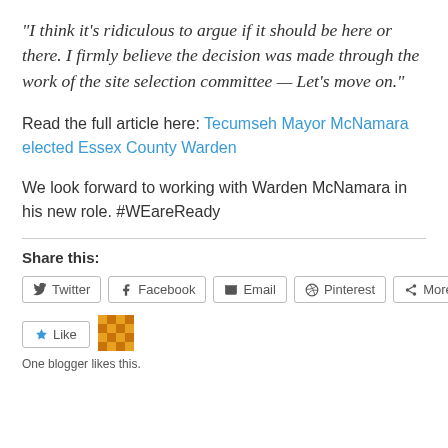“I think it’s ridiculous to argue if it should be here or there. I firmly believe the decision was made through the work of the site selection committee — Let’s move on.”
Read the full article here: Tecumseh Mayor McNamara elected Essex County Warden
We look forward to working with Warden McNamara in his new role. #WEareReady
Share this:
Twitter  Facebook  Email  Pinterest  More
Like
One blogger likes this.